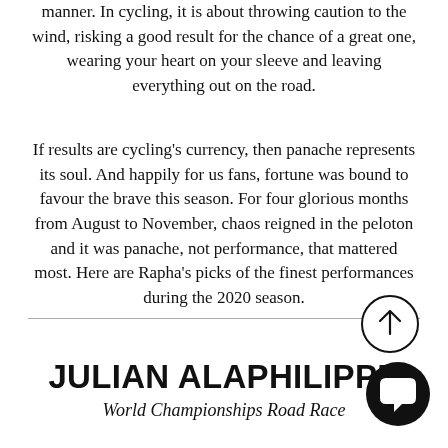manner. In cycling, it is about throwing caution to the wind, risking a good result for the chance of a great one, wearing your heart on your sleeve and leaving everything out on the road.
If results are cycling's currency, then panache represents its soul. And happily for us fans, fortune was bound to favour the brave this season. For four glorious months from August to November, chaos reigned in the peloton and it was panache, not performance, that mattered most. Here are Rapha's picks of the finest performances during the 2020 season.
JULIAN ALAPHILIPPE
World Championships Road Race